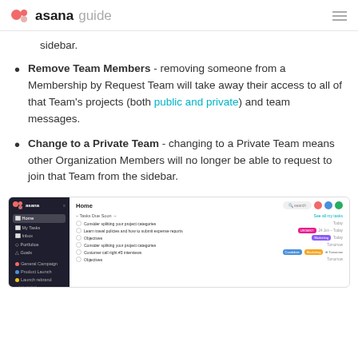asana guide
sidebar.
Remove Team Members - removing someone from a Membership by Request Team will take away their access to all of that Team's projects (both public and private) and team messages.
Change to a Private Team - changing to a Private Team means other Organization Members will no longer be able to request to join that Team from the sidebar.
[Figure (screenshot): Screenshot of Asana application showing Home page with sidebar navigation (Home, My Tasks, Inbox, Portfolios, Goals, General Campaign, Product Launch, Launch rebrand) and main content area showing Tasks Due Soon list with items like Consider splitting your project categories, Learn travel policies and how to submit expense reports, Objectives, Consider splitting your project categories, Customer call right #3 interviews, Objectives.]